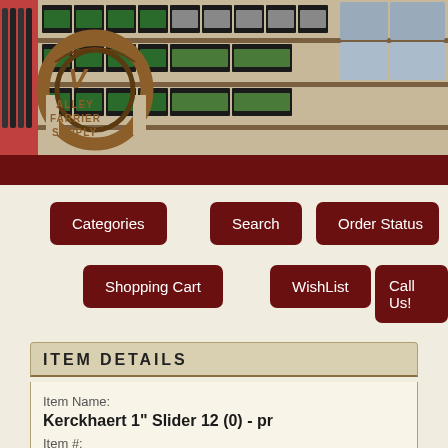[Figure (photo): Banner photo of Valley Farrier Supply store shelves stocked with products, with the Valley Farrier Supply logo overlaid on the left side. Below is a dark maroon bar.]
Categories
Search
Sign-In
Order Status
Shopping Cart
WishList
Call Us!
ITEM DETAILS
Item Name:
Kerckhaert 1" Slider 12 (0) - pr
Item #: